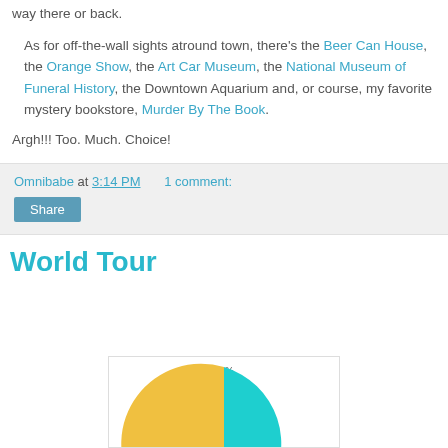way there or back.
As for off-the-wall sights atround town, there's the Beer Can House, the Orange Show, the Art Car Museum, the National Museum of Funeral History, the Downtown Aquarium and, or course, my favorite mystery bookstore, Murder By The Book.
Argh!!! Too. Much. Choice!
Omnibabe at 3:14 PM   1 comment:
Share
World Tour
[Figure (pie-chart): Pie chart partially visible at bottom of page, showing a large teal/cyan segment with label '49%' visible at top.]